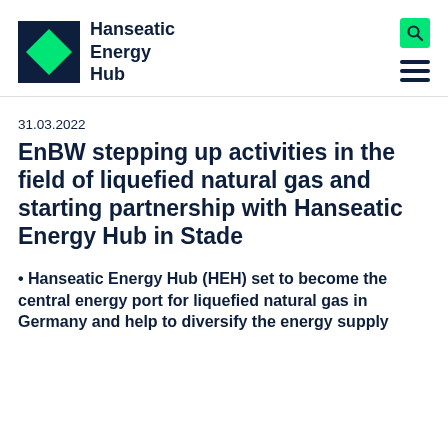[Figure (logo): Hanseatic Energy Hub logo: dark navy square with green diamond inside, followed by bold text 'Hanseatic Energy Hub']
31.03.2022
EnBW stepping up activities in the field of liquefied natural gas and starting partnership with Hanseatic Energy Hub in Stade
• Hanseatic Energy Hub (HEH) set to become the central energy port for liquefied natural gas in Germany and help to diversify the energy supply